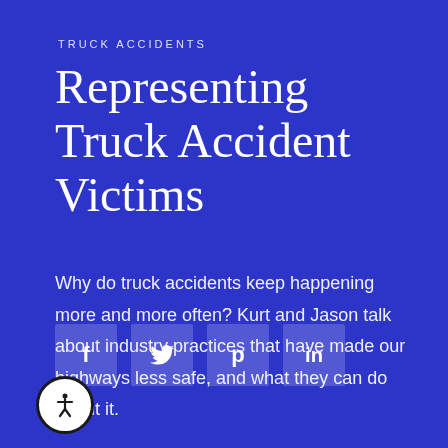TRUCK ACCIDENTS
Representing Truck Accident Victims
Why do truck accidents keep happening more and more often? Kurt and Jason talk about industry practices that have made our highways less safe, and what they can do about it.
[Figure (infographic): Four social media sharing buttons: Facebook (f), Twitter (bird icon), Pinterest (p), LinkedIn (in)]